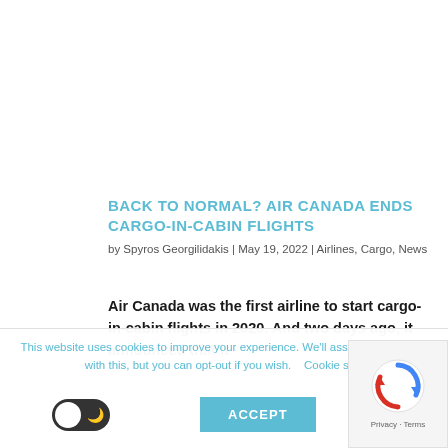BACK TO NORMAL? AIR CANADA ENDS CARGO-IN-CABIN FLIGHTS
by Spyros Georgilidakis | May 19, 2022 | Airlines, Cargo, News
Air Canada was the first airline to start cargo-in-cabin flights in 2020. And two days ago, it announced that it
This website uses cookies to improve your experience. We'll assume you're ok with this, but you can opt-out if you wish. Cookie se...